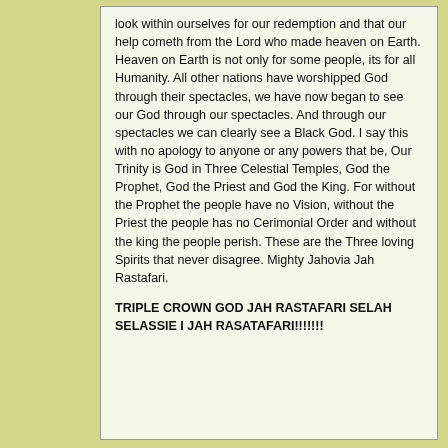look within ourselves for our redemption and that our help cometh from the Lord who made heaven on Earth. Heaven on Earth is not only for some people, its for all Humanity. All other nations have worshipped God through their spectacles, we have now began to see our God through our spectacles. And through our spectacles we can clearly see a Black God. I say this with no apology to anyone or any powers that be, Our Trinity is God in Three Celestial Temples, God the Prophet, God the Priest and God the King. For without the Prophet the people have no Vision, without the Priest the people has no Cerimonial Order and without the king the people perish. These are the Three loving Spirits that never disagree. Mighty Jahovia Jah Rastafari.
TRIPLE CROWN GOD JAH RASTAFARI SELAH SELASSIE I JAH RASATAFARI!!!!!!!